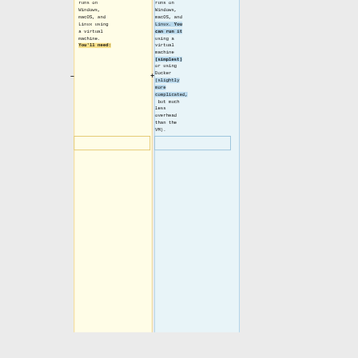runs on Windows, macOS, and Linux using a virtual machine. You'll need:
runs on Windows, macOS, and Linux. You can run it using a virtual machine (simplest) or using Docker (slightly more complicated, but much less overhead than the VM).